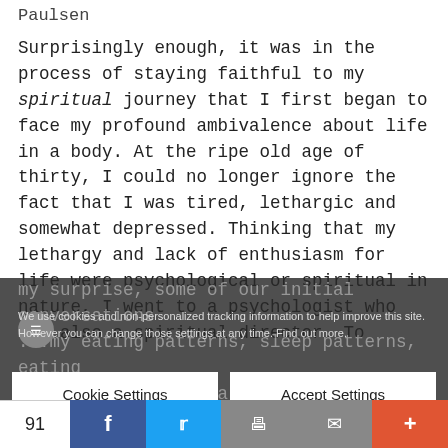Paulsen
Surprisingly enough, it was in the process of staying faithful to my spiritual journey that I first began to face my profound ambivalence about life in a body. At the ripe old age of thirty, I could no longer ignore the fact that I was tired, lethargic and somewhat depressed. Thinking that my lethargy and lack of enthusiasm for life were psychological or spiritual in nature, I went to a psychologist who was also a spiritual director. To my surprise, some of our initial conversations ... patterns, water intake, how much sleep I was getting, whether I was getting any exercise, and era... acas... health... ugh I
We use cookies and non-personalized tracking information to help improve this site. However you can change those settings at any time. Find out more.
Cookie Settings
Accept Settings
91